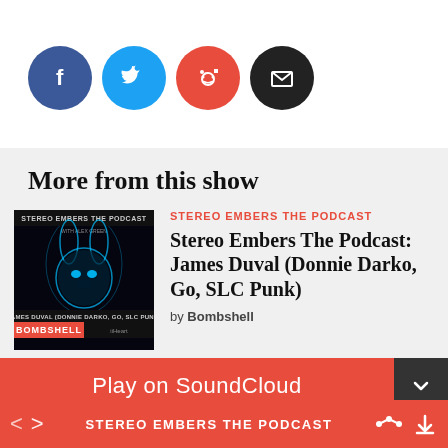[Figure (infographic): Four social sharing circular icon buttons: Facebook (blue), Twitter (light blue), Reddit (red-orange), Email (black)]
More from this show
[Figure (photo): Stereo Embers The Podcast album art featuring a glowing blue rabbit mask figure against a dark background, with text 'JAMES DUVAL (DONNIE DARKO, GO, SLC PUNK)' and 'BOMBSHELL' at bottom]
STEREO EMBERS THE PODCAST
Stereo Embers The Podcast: James Duval (Donnie Darko, Go, SLC Punk)
by Bombshell
Play on SoundCloud
Privacy policy
Listen in browser
STEREO EMBERS THE PODCAST